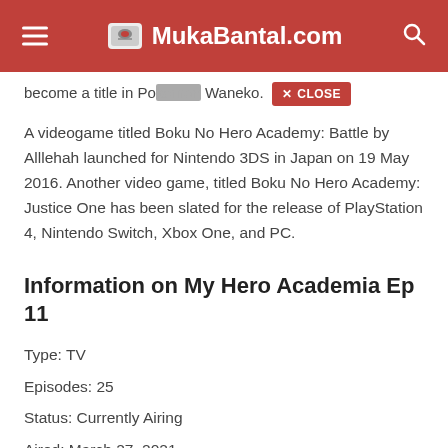MukaBantal.com
become a title in Pokemon Waneko.
A videogame titled Boku No Hero Academy: Battle by Alllehah launched for Nintendo 3DS in Japan on 19 May 2016. Another video game, titled Boku No Hero Academy: Justice One has been slated for the release of PlayStation 4, Nintendo Switch, Xbox One, and PC.
Information on My Hero Academia Ep 11
Type: TV
Episodes: 25
Status: Currently Airing
Aired: March 27, 2021
Premieres: Spring 2021
Broadcast: Saturday 17:00 (JST)